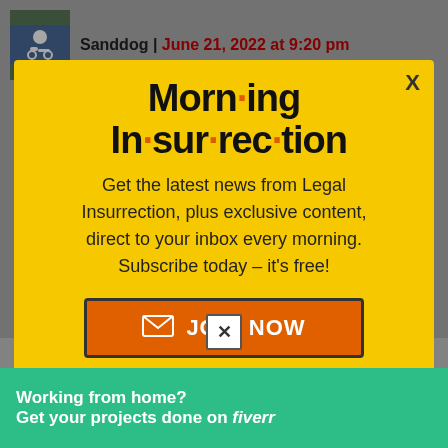Sanddog | June 21, 2022 at 9:20 pm
A single transgender athlete is not nearly as important as everyone else on
[Figure (screenshot): Modal popup overlay with yellow background promoting 'Morning Insurrection' newsletter subscription from Legal Insurrection, with orange JOIN NOW button]
What a piece of c*** she is.
Working from home? Get your projects done on fiverr